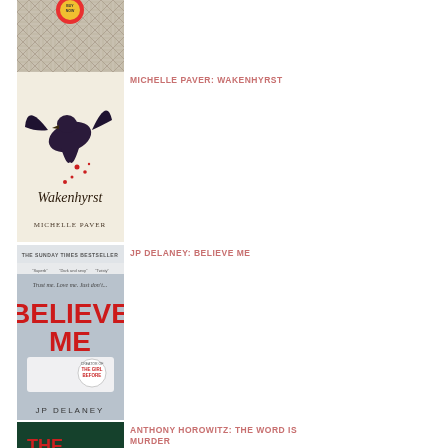[Figure (illustration): Partial book cover with geometric black and white pattern and a red/yellow circular element at top]
[Figure (illustration): Book cover for Wakenhyrst by Michelle Paver - dark bird (crow/raven) on pale background with red spots and handwritten title text]
MICHELLE PAVER: WAKENHYRST
[Figure (illustration): Book cover for Believe Me by JP Delaney - grey/blue background with red bold title text, white bed imagery]
JP DELANEY: BELIEVE ME
[Figure (illustration): Partial book cover for The Word is Murder by Anthony Horowitz - dark teal/green background with red title text visible]
ANTHONY HOROWITZ: THE WORD IS MURDER